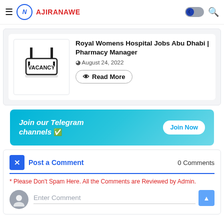AJIRANAWE
Royal Womens Hospital Jobs Abu Dhabi | Pharmacy Manager
August 24, 2022
[Figure (infographic): Vacancy sign illustration — rectangular sign with VACANCY text on a pole]
[Figure (infographic): Telegram channel promotional banner: 'Join our Telegram channels' with a 'Join Now' button on a cyan/blue gradient background]
Post a Comment  0 Comments
* Please Don't Spam Here. All the Comments are Reviewed by Admin.
Enter Comment